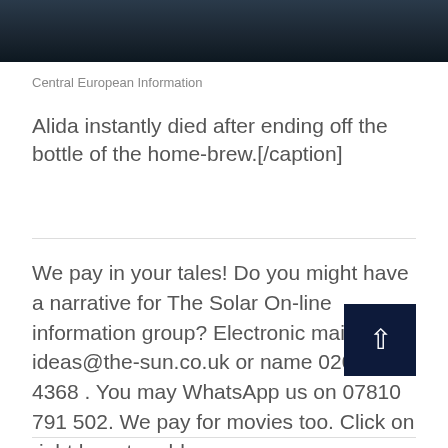[Figure (photo): Dark photograph showing a person in dark clothing, mostly cropped, dark tones of navy and black]
Central European Information
Alida instantly died after ending off the bottle of the home-brew.[/caption]
We pay in your tales! Do you might have a narrative for The Solar On-line information group? Electronic mail us at ideas@the-sun.co.uk or name 0207 782 4368 . You may WhatsApp us on 07810 791 502. We pay for movies too. Click on right here to add yours.